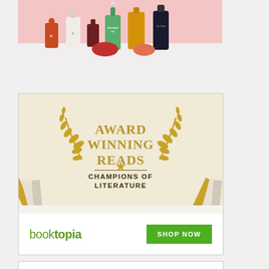[Figure (photo): Beauty and skincare products arranged on a white/pink surface including serums, oils, and bottles. Includes Mermaid Oil and other labelled products.]
[Figure (illustration): Booktopia advertisement banner. Cream/beige background with gold laurel wreath and text 'AWARD WINNING READS — CHAMPIONS OF LITERATURE' in gold and dark brown. Illustrated books on left and right sides. Bottom white bar shows 'booktopia' logo in green and a green 'SHOP NOW' button.]